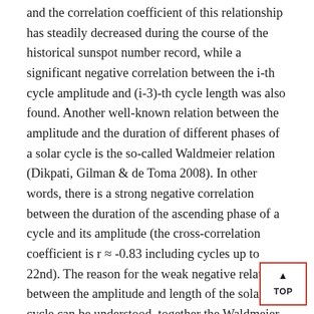and the correlation coefficient of this relationship has steadily decreased during the course of the historical sunspot number record, while a significant negative correlation between the i-th cycle amplitude and (i-3)-th cycle length was also found. Another well-known relation between the amplitude and the duration of different phases of a solar cycle is the so-called Waldmeier relation (Dikpati, Gilman & de Toma 2008). In other words, there is a strong negative correlation between the duration of the ascending phase of a cycle and its amplitude (the cross-correlation coefficient is r ≈ -0.83 including cycles up to 22nd). The reason for the weak negative relation between the amplitude and length of the solar cycle can be understood, together the Waldmeier effect, by the fact that the relation between the duration of the descending phase and the cycle amplitude is weakly positive (r ≈ 0.41). Other relations, such as the solar North- South asymmetry, are suggested (e.g.,